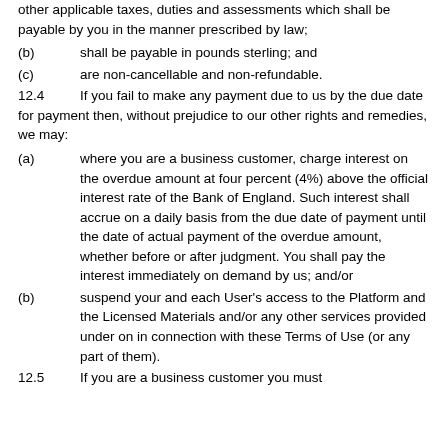other applicable taxes, duties and assessments which shall be payable by you in the manner prescribed by law;
(b)    shall be payable in pounds sterling; and
(c)    are non-cancellable and non-refundable.
12.4    If you fail to make any payment due to us by the due date for payment then, without prejudice to our other rights and remedies, we may:
(a)    where you are a business customer, charge interest on the overdue amount at four percent (4%) above the official interest rate of the Bank of England. Such interest shall accrue on a daily basis from the due date of payment until the date of actual payment of the overdue amount, whether before or after judgment. You shall pay the interest immediately on demand by us; and/or
(b)    suspend your and each User's access to the Platform and the Licensed Materials and/or any other services provided under on in connection with these Terms of Use (or any part of them).
12.5    If you are a business customer you must